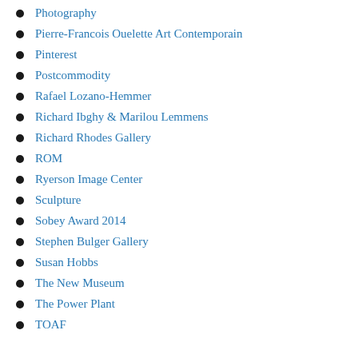Photography
Pierre-Francois Ouelette Art Contemporain
Pinterest
Postcommodity
Rafael Lozano-Hemmer
Richard Ibghy & Marilou Lemmens
Richard Rhodes Gallery
ROM
Ryerson Image Center
Sculpture
Sobey Award 2014
Stephen Bulger Gallery
Susan Hobbs
The New Museum
The Power Plant
TOAF